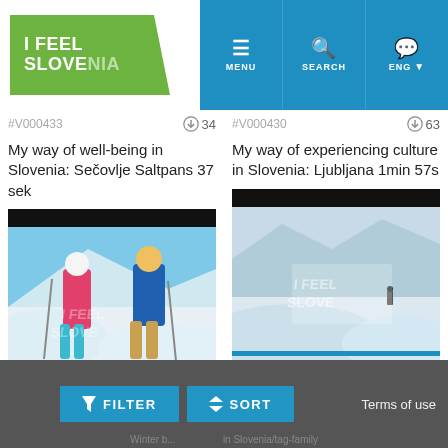[Figure (screenshot): I Feel Slovenia website header with green logo on left and blue navigation bar with MENU, SEARCH, ENG buttons on right]
#V000433  ⬇34
#V000430  ⬇63
My way of well-being in Slovenia: Sečovlje Saltpans 37 sek
My way of experiencing culture in Slovenia: Ljubljana 1min 57s
[Figure (photo): Two skiers standing in ski gear on a snowy mountain slope with I Feel Slovenia watermark]
[Figure (photo): Snowy mountain landscape with I Feel Slovenia watermark overlay]
FILTER
SORT
Terms of use
Winter b... in Slovenia/tag-family